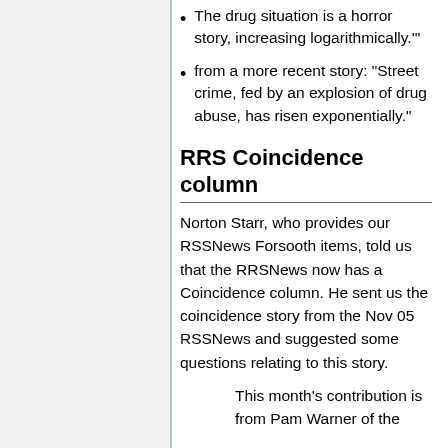The drug situation is a horror story, increasing logarithmically.'
from a more recent story: "Street crime, fed by an explosion of drug abuse, has risen exponentially."
RRS Coincidence column
Norton Starr, who provides our RSSNews Forsooth items, told us that the RRSNews now has a Coincidence column. He sent us the coincidence story from the Nov 05 RSSNews and suggested some questions relating to this story.
This month's contribution is from Pam Warner of the